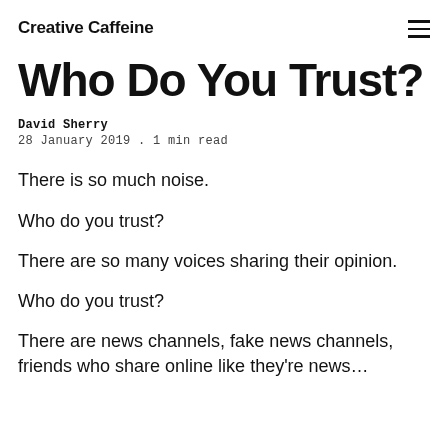Creative Caffeine
Who Do You Trust?
David Sherry
28 January 2019 . 1 min read
There is so much noise.
Who do you trust?
There are so many voices sharing their opinion.
Who do you trust?
There are news channels, fake news channels, friends who share online like they're news…